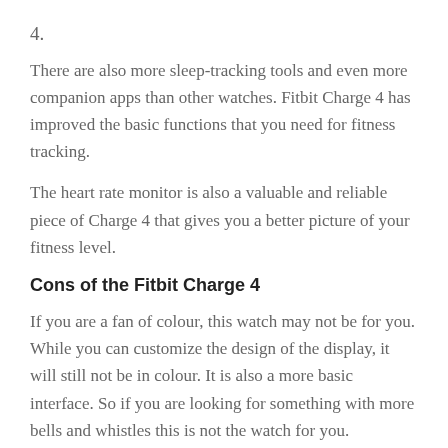4.
There are also more sleep-tracking tools and even more companion apps than other watches. Fitbit Charge 4 has improved the basic functions that you need for fitness tracking.
The heart rate monitor is also a valuable and reliable piece of Charge 4 that gives you a better picture of your fitness level.
Cons of the Fitbit Charge 4
If you are a fan of colour, this watch may not be for you. While you can customize the design of the display, it will still not be in colour. It is also a more basic interface. So if you are looking for something with more bells and whistles this is not the watch for you.